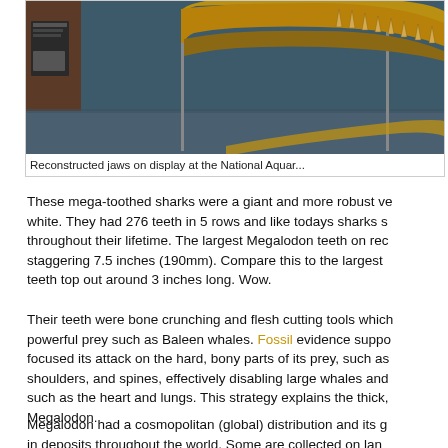[Figure (photo): Reconstructed Megalodon jaws on display at the National Aquarium, showing large curved jaw with protruding teeth against a dark museum background]
Reconstructed jaws on display at the National Aquar...
These mega-toothed sharks were a giant and more robust ve white. They had 276 teeth in 5 rows and like todays sharks s throughout their lifetime. The largest Megalodon teeth on rec staggering 7.5 inches (190mm). Compare this to the largest teeth top out around 3 inches long. Wow.
Their teeth were bone crunching and flesh cutting tools which powerful prey such as Baleen whales. Fossil evidence suppo focused its attack on the hard, bony parts of its prey, such as shoulders, and spines, effectively disabling large whales and such as the heart and lungs. This strategy explains the thick, Megalodon.
Megalodon had a cosmopolitan (global) distribution and its g in deposits throughout the world. Some are collected on lan...